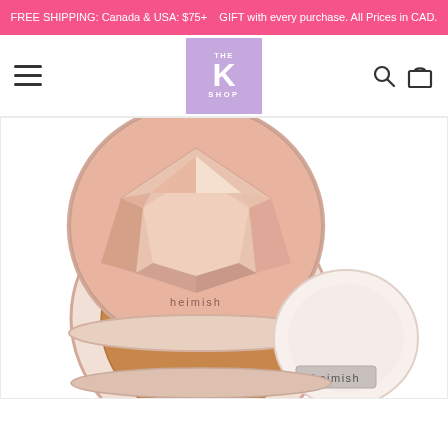FREE SHIPPING: Canada & USA: $75+   GIFT with every purchase. All Prices in CAD.
[Figure (logo): The K Shop logo — purple/lavender square with THE K SHOP text in white]
[Figure (photo): Heimish cushion compact makeup product — open compact showing a rose-gold faceted lid and a separate cushion applicator puff, photographed on white background]